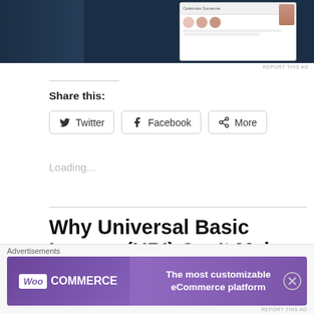[Figure (screenshot): Top advertisement banner showing a dark navy background with a website screenshot preview on the right side]
REPORT THIS AD
Share this:
Twitter
Facebook
More
Loading...
Why Universal Basic Income (UBI) Can't Make Us Wealthier
Advertisements
[Figure (other): WooCommerce advertisement banner with purple gradient background. Left side shows WooCommerce logo, right side says 'The most customizable eCommerce platform']
REPORT THIS AD